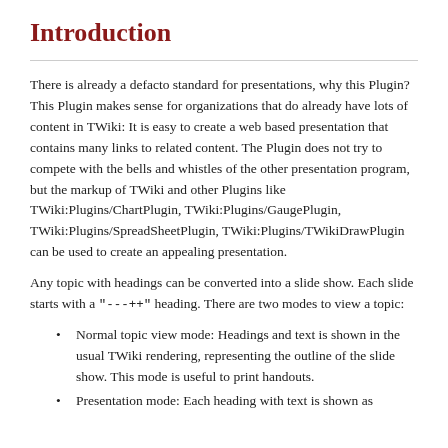Introduction
There is already a defacto standard for presentations, why this Plugin? This Plugin makes sense for organizations that do already have lots of content in TWiki: It is easy to create a web based presentation that contains many links to related content. The Plugin does not try to compete with the bells and whistles of the other presentation program, but the markup of TWiki and other Plugins like TWiki:Plugins/ChartPlugin, TWiki:Plugins/GaugePlugin, TWiki:Plugins/SpreadSheetPlugin, TWiki:Plugins/TWikiDrawPlugin can be used to create an appealing presentation.
Any topic with headings can be converted into a slide show. Each slide starts with a "---++" heading. There are two modes to view a topic:
Normal topic view mode: Headings and text is shown in the usual TWiki rendering, representing the outline of the slide show. This mode is useful to print handouts.
Presentation mode: Each heading with text is shown as